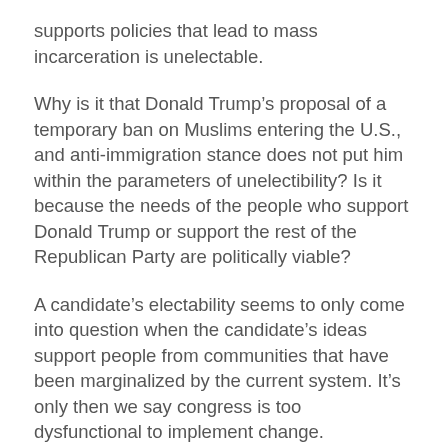supports policies that lead to mass incarceration is unelectable.
Why is it that Donald Trump's proposal of a temporary ban on Muslims entering the U.S., and anti-immigration stance does not put him within the parameters of unelectibility? Is it because the needs of the people who support Donald Trump or support the rest of the Republican Party are politically viable?
A candidate's electability seems to only come into question when the candidate's ideas support people from communities that have been marginalized by the current system. It's only then we say congress is too dysfunctional to implement change.